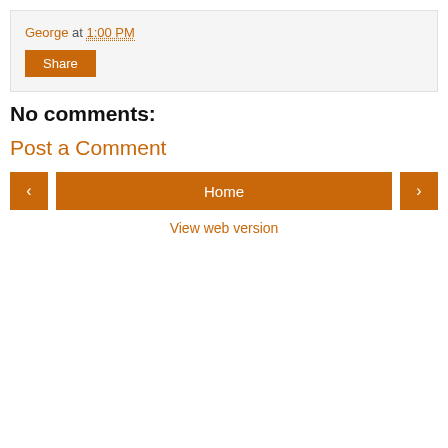George at 1:00 PM
Share
No comments:
Post a Comment
‹
Home
›
View web version